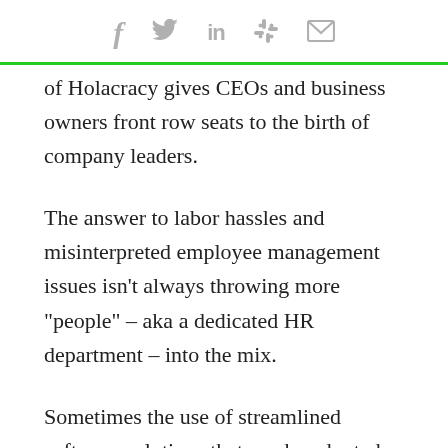social share icons: f (Facebook), Twitter bird, in (LinkedIn), Slack hash, envelope (email)
of Holacracy gives CEOs and business owners front row seats to the birth of company leaders.
The answer to labor hassles and misinterpreted employee management issues isn’t always throwing more “people” – aka a dedicated HR department – into the mix.
Sometimes the use of streamlined software solutions that can be adopted by the C suite with gusto leads to the automation of repetitive tasks and the elimination of redundant to-dos, allowing more freedom to the executives and